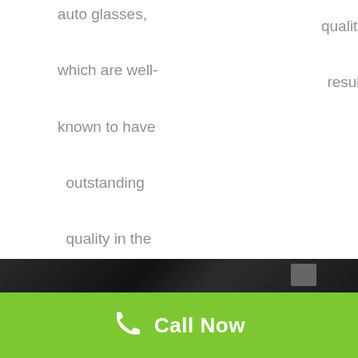auto glasses, which are well-known to have outstanding quality in the entire industry.
quality of results.
guarantee.
[Figure (photo): Dark strip with blurred background image at bottom of page]
Call Now